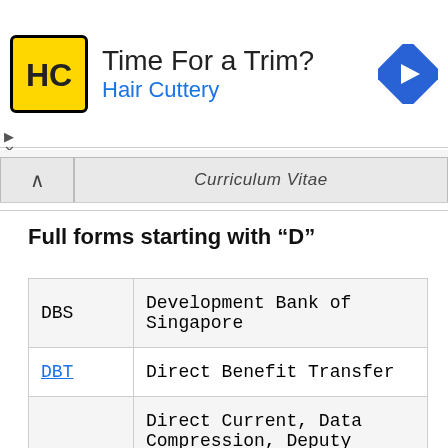[Figure (infographic): Advertisement banner for Hair Cuttery with logo, tagline 'Time For a Trim?', and navigation arrow icon]
Curriculum Vitae
Full forms starting with “D”
| Abbreviation | Full Form |
| --- | --- |
| DBS | Development Bank of Singapore |
| DBT | Direct Benefit Transfer |
| DC | Direct Current, Data Compression, Deputy Commissioner, District of Columbia, Detective Comics |
| DCA | Diploma in Computer Applications |